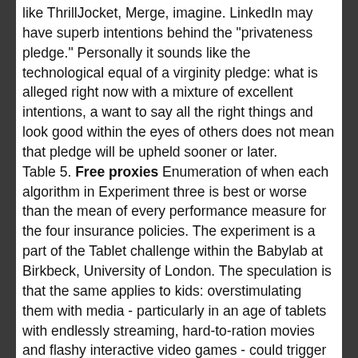like ThrillJocket, Merge, imagine. LinkedIn may have superb intentions behind the "privateness pledge." Personally it sounds like the technological equal of a virginity pledge: what is alleged right now with a mixture of excellent intentions, a want to say all the right things and look good within the eyes of others does not mean that pledge will be upheld sooner or later. Table 5. Free proxies Enumeration of when each algorithm in Experiment three is best or worse than the mean of every performance measure for the four insurance policies. The experiment is a part of the Tablet challenge within the Babylab at Birkbeck, University of London. The speculation is that the same applies to kids: overstimulating them with media - particularly in an age of tablets with endlessly streaming, hard-to-ration movies and flashy interactive video games - could trigger an imbalance in a part of the cerebral cortex called the basal ganglia. It's this a part of the mind that permits us to concentrate to critical tasks and ignore distractions. After around an hour of evaluation, Max's patience for screen-touching, eye-tracking, mind-monitoring and other distractions from his busy schedule of rampaging round and eating bread sticks wanes. The group is making an attempt to know how easily Max, and dozens of other babies like him, can focus consideration and block out distractions when working on a particular activity. In London